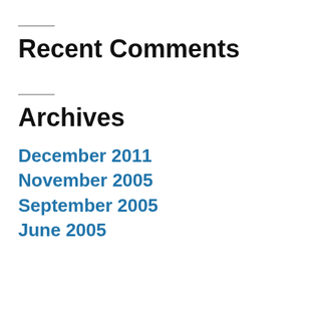Recent Comments
Archives
December 2011
November 2005
September 2005
June 2005